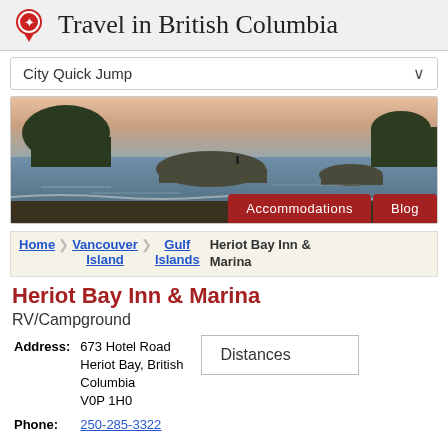Travel in British Columbia
City Quick Jump
[Figure (photo): Coastal scenic photo of British Columbia shoreline with rocky outcrops in water, trees on distant peninsulas, at dusk/sunrise. Buttons: Accommodations, Blog.]
Home > Vancouver Island > Gulf Islands > Heriot Bay Inn & Marina
Heriot Bay Inn & Marina
RV/Campground
Address: 673 Hotel Road, Heriot Bay, British Columbia, V0P 1H0
Phone: 250-285-3322
Distances